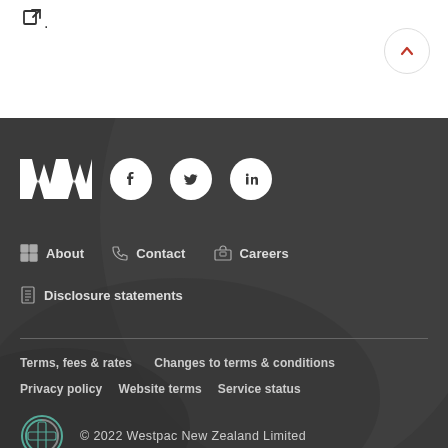[Figure (logo): External link icon at top left of white section]
[Figure (logo): Back to top button (circle with chevron up) at top right of white section]
[Figure (logo): Westpac logo (white W monogram) and social media icons (Facebook, Twitter, LinkedIn) in dark footer]
About
Contact
Careers
Disclosure statements
Terms, fees & rates
Changes to terms & conditions
Privacy policy
Website terms
Service status
© 2022 Westpac New Zealand Limited